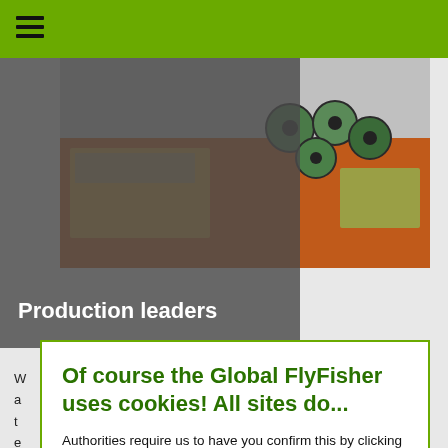[Figure (screenshot): Green navigation top bar with hamburger menu icon]
[Figure (photo): Photo of fishing leader spools/discs on a wooden table surface]
Production leaders
W... ers a... t e... with l...
Of course the Global FlyFisher uses cookies! All sites do...
Authorities require us to have you confirm this by clicking any link on this page. You are then giving your consent for us to set cookies. No cookies, no GFF!
More about privacy and cookies
OK, I agree